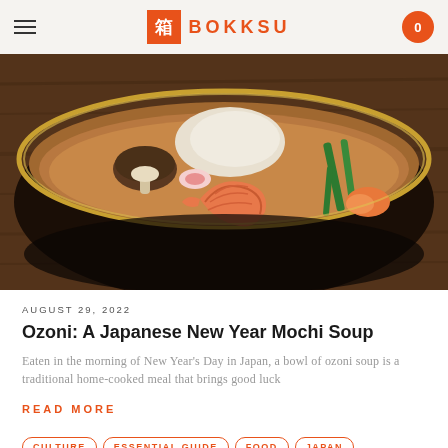BOKKSU
[Figure (photo): A dark bowl filled with Japanese ozoni soup containing shrimp, mushrooms, vegetables, mochi, and green onions, photographed from above on a wooden surface]
AUGUST 29, 2022
Ozoni: A Japanese New Year Mochi Soup
Eaten in the morning of New Year's Day in Japan, a bowl of ozoni soup is a traditional home-cooked meal that brings good luck
READ MORE
CULTURE  ESSENTIAL GUIDE  FOOD  JAPAN